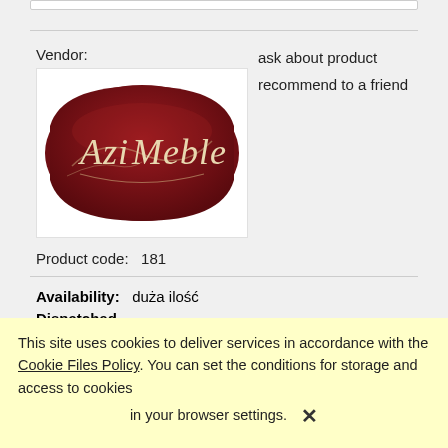Vendor:
ask about product
recommend to a friend
[Figure (logo): AziMeble logo — dark red oval-shaped emblem with cream-colored cursive text reading 'AziMeble']
Product code:   181
Availability:   duża ilość
Dispatched within:   30 dni
Udostępnij
This site uses cookies to deliver services in accordance with the Cookie Files Policy. You can set the conditions for storage and access to cookies in your browser settings. ✕